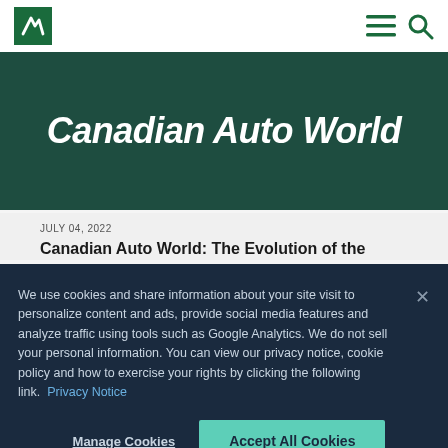Navigation bar with KPMG logo, hamburger menu, and search icon
[Figure (illustration): Dark teal/green hero banner with bold white italic text reading 'Canadian Auto World']
JULY 04, 2022
Canadian Auto World: The Evolution of the
We use cookies and share information about your site visit to personalize content and ads, provide social media features and analyze traffic using tools such as Google Analytics. We do not sell your personal information. You can view our privacy notice, cookie policy and how to exercise your rights by clicking the following link.  Privacy Notice
Manage Cookies
Accept All Cookies